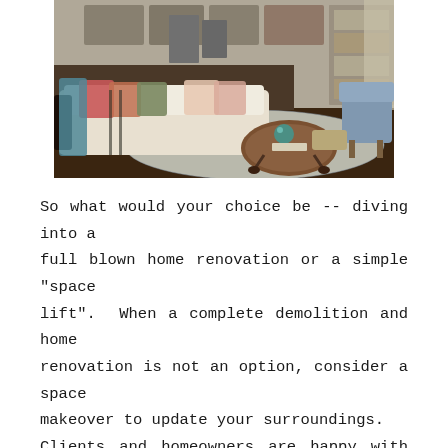[Figure (photo): Interior living room photo showing a light-colored sofa with colorful pillows, a round wooden coffee table with a teal glass decoration, an ornate area rug with floral pattern, and an open-concept kitchen with dark cabinetry visible in the background.]
So what would your choice be -- diving into a full blown home renovation or a simple "space lift".  When a complete demolition and home renovation is not an option, consider a space makeover to update your surroundings. Clients and homeowners are happy with their locations, lots and school districts, so an increase in home renovation has swept through the design community in recent years. As with everything I get to do in my job- renovation is no different -I get the